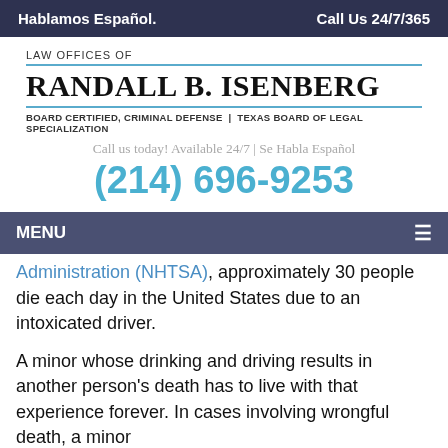Hablamos Español.    Call Us 24/7/365
LAW OFFICES OF RANDALL B. ISENBERG
BOARD CERTIFIED, CRIMINAL DEFENSE | TEXAS BOARD OF LEGAL SPECIALIZATION
Call us today! Available 24/7 | Se Habla Español
(214) 696-9253
MENU
Administration (NHTSA), approximately 30 people die each day in the United States due to an intoxicated driver.
A minor whose drinking and driving results in another person's death has to live with that experience forever. In cases involving wrongful death, a minor